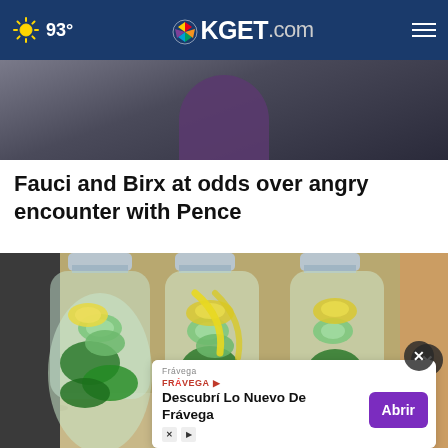93° KGET.com
[Figure (photo): Partial photo showing dark background with a purple-clothed figure, partially visible at top of page]
Fauci and Birx at odds over angry encounter with Pence
[Figure (photo): Three plastic water bottles filled with infused water containing cucumber slices, lemon pieces, and mint leaves, sitting on a granite countertop]
Frávega
Descubrí Lo Nuevo De Frávega
Abrir